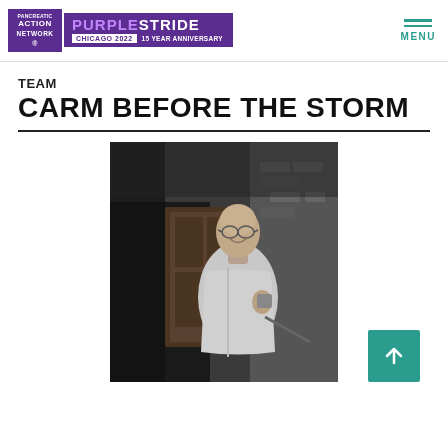PAN Pancreatic Action Network | PurpleStride Chicago 2022 15 Year Anniversary | MENU
TEAM
CARM BEFORE THE STORM
[Figure (photo): Black and white photo of an older bald man with glasses, smiling, wearing a light zip-up fleece jacket and holding a small item (possibly a mug or badge), standing in front of a dark wooden door with brick walls on either side, leaning on a railing.]